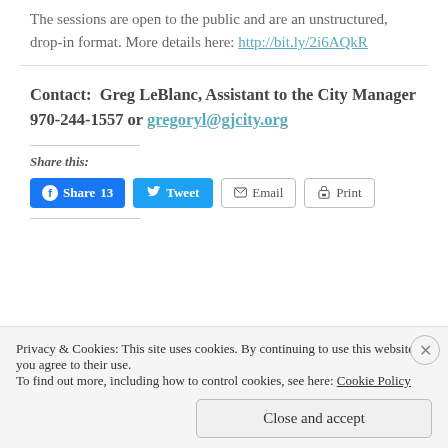The sessions are open to the public and are an unstructured, drop-in format. More details here: http://bit.ly/2i6AQkR
Contact:  Greg LeBlanc, Assistant to the City Manager 970-244-1557 or gregoryl@gjcity.org
Share this:
[Figure (screenshot): Social share buttons: Facebook Share 13, Tweet, Email, Print]
Privacy & Cookies: This site uses cookies. By continuing to use this website, you agree to their use. To find out more, including how to control cookies, see here: Cookie Policy
Close and accept